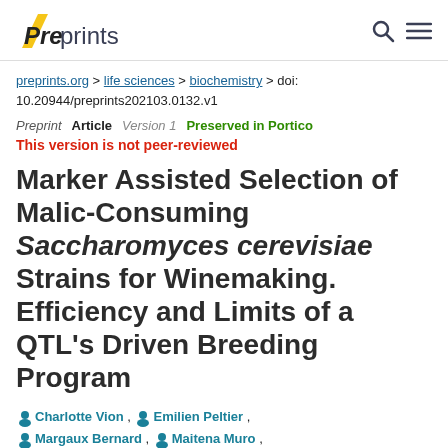[Figure (logo): Preprints.org logo with yellow parallelogram slash and text 'Preprints', plus search and menu icons in header]
preprints.org > life sciences > biochemistry > doi: 10.20944/preprints202103.0132.v1
Preprint  Article  Version 1  Preserved in Portico
This version is not peer-reviewed
Marker Assisted Selection of Malic-Consuming Saccharomyces cerevisiae Strains for Winemaking. Efficiency and Limits of a QTL's Driven Breeding Program
Charlotte Vion , Emilien Peltier , Margaux Bernard , Maitena Muro , Philippe Marullo *